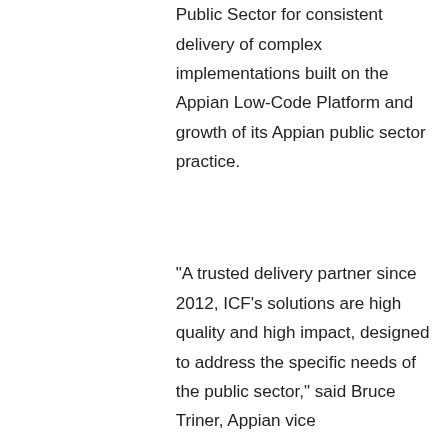Public Sector for consistent delivery of complex implementations built on the Appian Low-Code Platform and growth of its Appian public sector practice.
"A trusted delivery partner since 2012, ICF's solutions are high quality and high impact, designed to address the specific needs of the public sector," said Bruce Triner, Appian vice